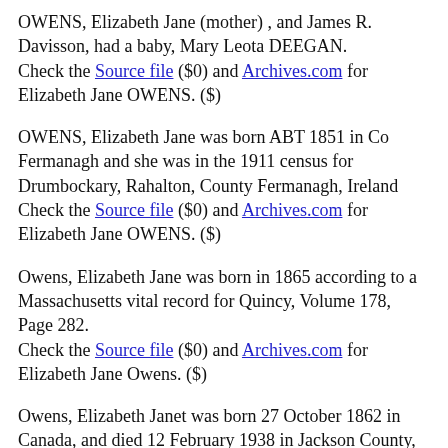OWENS, Elizabeth Jane (mother) , and James R. Davisson, had a baby, Mary Leota DEEGAN. Check the Source file ($0) and Archives.com for Elizabeth Jane OWENS. ($)
OWENS, Elizabeth Jane was born ABT 1851 in Co Fermanagh and she was in the 1911 census for Drumbockary, Rahalton, County Fermanagh, Ireland Check the Source file ($0) and Archives.com for Elizabeth Jane OWENS. ($)
Owens, Elizabeth Jane was born in 1865 according to a Massachusetts vital record for Quincy, Volume 178, Page 282. Check the Source file ($0) and Archives.com for Elizabeth Jane Owens. ($)
Owens, Elizabeth Janet was born 27 October 1862 in Canada, and died 12 February 1938 in Jackson County, Iowa, U.S.A. Check the Source file ($0) and Archives.com for